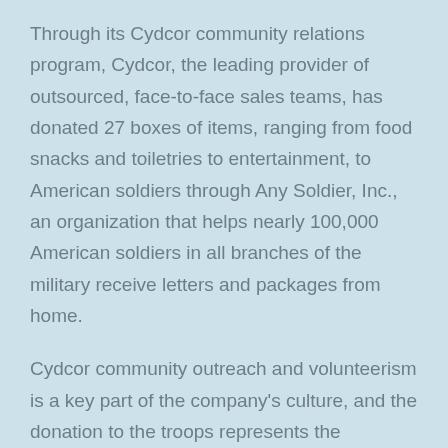Through its Cydcor community relations program, Cydcor, the leading provider of outsourced, face-to-face sales teams, has donated 27 boxes of items, ranging from food snacks and toiletries to entertainment, to American soldiers through Any Soldier, Inc., an organization that helps nearly 100,000 American soldiers in all branches of the military receive letters and packages from home.
Cydcor community outreach and volunteerism is a key part of the company's culture, and the donation to the troops represents the Cydcor's goal of helping service people who are not able to be with families this holiday season.
The Cydcor community has donated to other charitable organizations in previous years, such as Children's